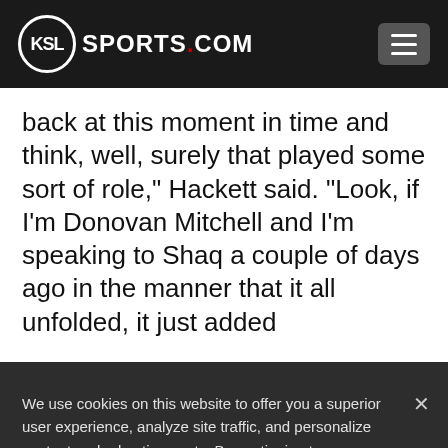[Figure (logo): KSL Sports.com logo — white circle with KSL text inside, followed by SPORTS.COM in white bold text with red dot]
back at this moment in time and think, well, surely that played some sort of role,” Hackett said. “Look, if I’m Donovan Mitchell and I’m speaking to Shaq a couple of days ago in the manner that it all unfolded, it just added
We use cookies on this website to offer you a superior user experience, analyze site traffic, and personalize content and advertisements. By continuing to use our site, you consent to our use of cookies. Please visit our Privacy Policy for more information.
Accept Cookies